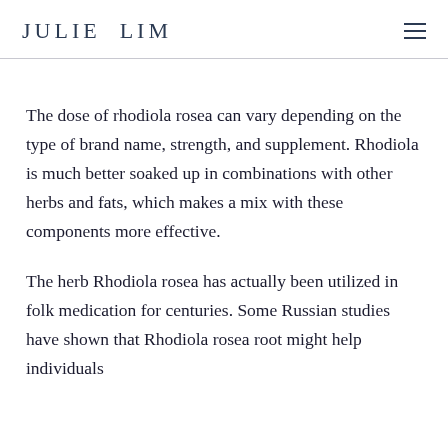JULIE LIM
The dose of rhodiola rosea can vary depending on the type of brand name, strength, and supplement. Rhodiola is much better soaked up in combinations with other herbs and fats, which makes a mix with these components more effective.
The herb Rhodiola rosea has actually been utilized in folk medication for centuries. Some Russian studies have shown that Rhodiola rosea root might help individuals